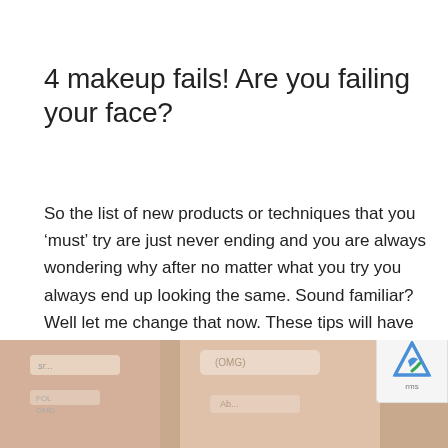4 makeup fails! Are you failing your face?
So the list of new products or techniques that you ‘must’ try are just never ending and you are always wondering why after no matter what you try you always end up looking the same. Sound familiar? Well let me change that now. These tips will have you looking more flawless, radiant and youthful in...
[Figure (photo): Partial view of makeup products, appears to show foundation or powder compacts at bottom of page]